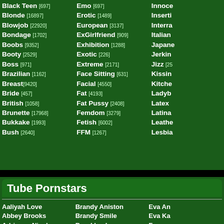Black Teen [697]
Blonde [16897]
Blowjob [22920]
Bondage [1702]
Boobs [9352]
Booty [2529]
Boss [971]
Brazilian [1162]
Breast [9420]
Bride [457]
British [1058]
Brunette [17968]
Bukkake [1993]
Bush [2640]
Emo [697]
Erotic [1489]
European [3137]
ExGirlfriend [909]
Exhibition [1288]
Exotic [226]
Extreme [2171]
Face Sitting [631]
Facial [4550]
Fat [4193]
Fat Pussy [2408]
Femdom [3279]
Fetish [6002]
FFM [1267]
Innoce...
Inserti...
Interra...
Italian
Japane...
Jerkin...
Jizz [25...]
Kissin...
Kitche...
Ladyb...
Latex ...
Latina
Leathe...
Lesbia...
Tube Pornstars
Aaliyah Love
Abbey Brooks
Adrianna Nicole
Alanah Rae
Alektra Blue
Brandy Aniston
Brandy Smile
Brooklyn Lee
Carmella Bing
Casey Cumz
Eva An...
Eva Ka...
France...
Gabrie...
Gracie...